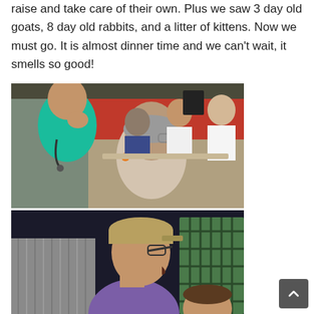raise and take care of their own. Plus we saw 3 day old goats, 8 day old rabbits, and a litter of kittens. Now we must go. It is almost dinner time and we can't wait, it smells so good!
[Figure (photo): Group of people sitting at tables under a covered outdoor area with a red wall. In the foreground, a person in teal scrubs with a stethoscope and a woman with grey hair and glasses are visible.]
[Figure (photo): A man in a purple polo shirt wearing glasses and a tan cap, shown in profile. A child's head is partially visible in the lower right. Background shows a corrugated metal wall and a green barred window.]